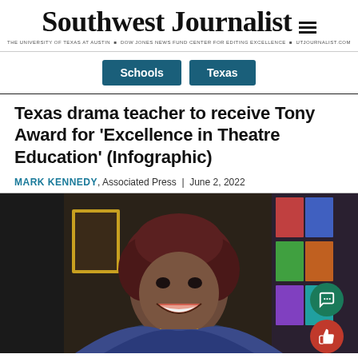Southwest Journalist
THE UNIVERSITY OF TEXAS AT AUSTIN  ■  DOW JONES NEWS FUND CENTER FOR EDITING EXCELLENCE  ■  UTJOURNALIST.COM
Schools   Texas
Texas drama teacher to receive Tony Award for 'Excellence in Theatre Education' (Infographic)
MARK KENNEDY, Associated Press | June 2, 2022
[Figure (photo): Portrait photo of a smiling Black woman with reddish-brown hair, wearing a blue patterned outfit, photographed in front of a colorful background with framed artwork and photos]